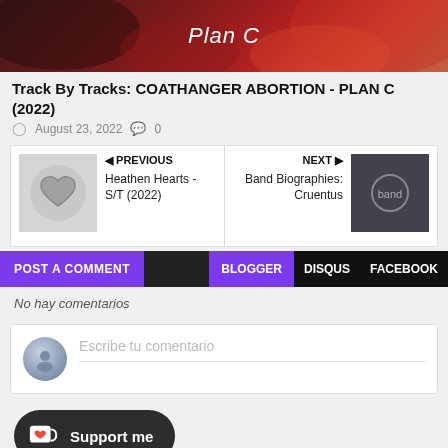[Figure (photo): Top banner image with red/dark abstract background and 'Plan C' text]
Track By Tracks: COATHANGER ABORTION - PLAN C (2022)
August 23, 2022  0
PREVIOUS Heathen Hearts - S/T (2022) | NEXT Band Biographies: Cruentus
POST A COMMENT   BLOGGER   DISQUS   FACEBOOK
No hay comentarios
Escribe tu comentario
[Figure (other): Support me button with Ko-fi cup icon]